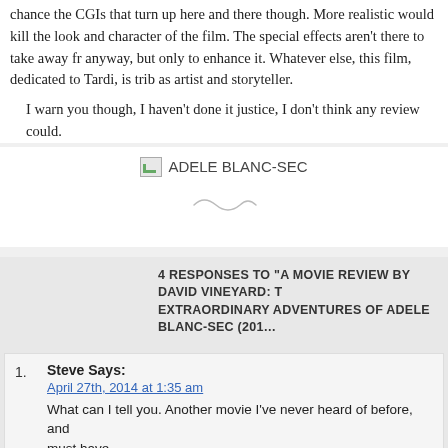chance the CGIs that turn up here and there though. More realistic would kill the look and character of the film. The special effects aren't there to take away from it anyway, but only to enhance it. Whatever else, this film, dedicated to Tardi, is tribute to him as artist and storyteller.

I warn you though, I haven't done it justice, I don't think any review could.
[Figure (photo): Broken image placeholder labeled ADELE BLANC-SEC]
[Figure (illustration): Small decorative squiggle/flourish divider]
4 RESPONSES TO "A MOVIE REVIEW BY DAVID VINEYARD: THE EXTRAORDINARY ADVENTURES OF ADELE BLANC-SEC (201...
1. Steve Says:
April 27th, 2014 at 1:35 am
What can I tell you. Another movie I've never heard of before, and now a must have.
2. Stan Burns Says:
April 27th, 2014 at 3:12 pm